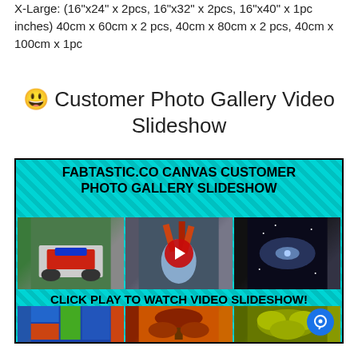X-Large: (16"x24" x 2pcs, 16"x32" x 2pcs, 16"x40" x 1pc inches) 40cm x 60cm x 2 pcs, 40cm x 80cm x 2 pcs, 40cm x 100cm x 1pc
😃 Customer Photo Gallery Video Slideshow
[Figure (screenshot): Video thumbnail for FABTASTIC.CO Canvas Customer Photo Gallery Slideshow on a teal/cyan striped background, showing 6 canvas print photos in a 2-row 3-column grid with a play button in the center, and text overlays: 'FABTASTIC.CO CANVAS CUSTOMER PHOTO GALLERY SLIDESHOW' at top and 'CLICK PLAY TO WATCH VIDEO SLIDESHOW!' in the middle]